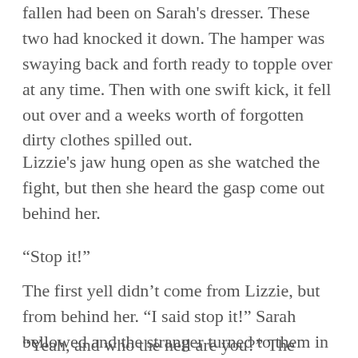fallen had been on Sarah's dresser. These two had knocked it down. The hamper was swaying back and forth ready to topple over at any time. Then with one swift kick, it fell out over and a weeks worth of forgotten dirty clothes spilled out.
Lizzie's jaw hung open as she watched the fight, but then she heard the gasp come out behind her.
“Stop it!”
The first yell didn’t come from Lizzie, but from behind her. “I said stop it!” Sarah bellowed and the stranger turned to them in surprise. Chuck took the opportunity to push him off and the stranger rolled with the push and used the momentum
“Yeah, and who the hell are you?” The stranger’s